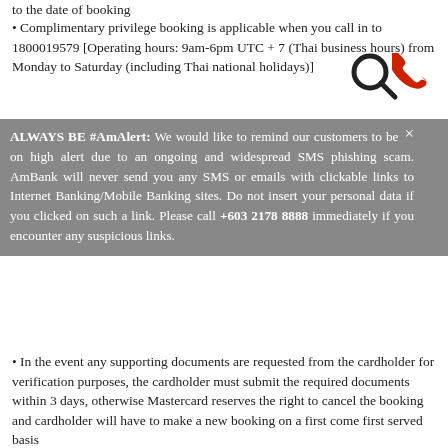Complimentary privilege booking is applicable when you call in to 1800019579 [Operating hours: 9am-6pm UTC + 7 (Thai business hours) from Monday to Saturday (including Thai national holidays)]
ALWAYS BE #AmAlert: We would like to remind our customers to be on high alert due to an ongoing and widespread SMS phishing scam. AmBank will never send you any SMS or emails with clickable links to Internet Banking/Mobile Banking sites. Do not insert your personal data if you clicked on such a link. Please call +603 2178 8888 immediately if you encounter any suspicious links.
In the event any supporting documents are requested from the cardholder for verification purposes, the cardholder must submit the required documents within 3 days, otherwise Mastercard reserves the right to cancel the booking and cardholder will have to make a new booking on a first come first served basis
Cardholder may redeem this privilege multiple times from all participating merchants in the Special Price Afternoon Tea Set category
Cancellation or booking changes must be done at least 1 day